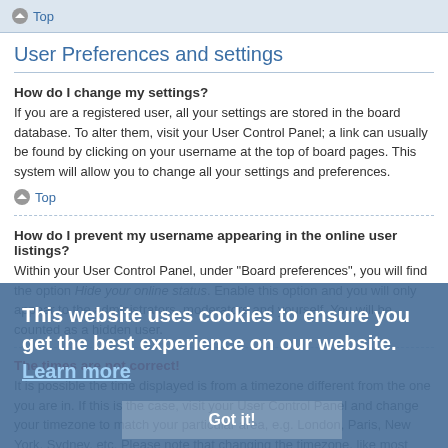Top
User Preferences and settings
How do I change my settings?
If you are a registered user, all your settings are stored in the board database. To alter them, visit your User Control Panel; a link can usually be found by clicking on your username at the top of board pages. This system will allow you to change all your settings and preferences.
Top
How do I prevent my username appearing in the online user listings?
Within your User Control Panel, under “Board preferences”, you will find the option Hide your online status. Enable this option and you will only appear to the administrators, moderators and yourself. You will be counted as a hidden user.
The times are not correct!
It is possible the time displayed is from a timezone different from the one you are in. If this is the case, visit your User Control Panel and change your timezone to match your particular area, e.g. London, Paris, New York, Sydney, etc. Please note that changing the timezone, like most settings, can only be done by registered users. If you are not registered, this is a good time to do so.
This website uses cookies to ensure you get the best experience on our website. Learn more
Got it!